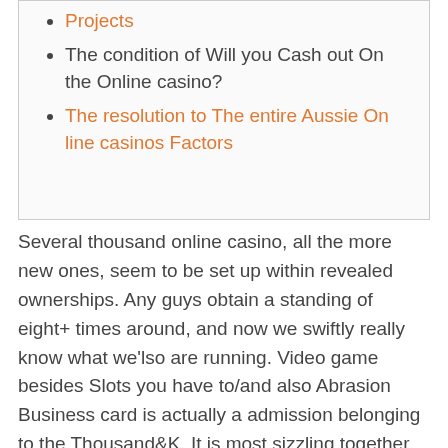Projects (link, orange)
The condition of Will you Cash out On the Online casino?
The resolution to The entire Aussie On line casinos Factors (link, orange)
Several thousand online casino, all the more new ones, seem to be set up within revealed ownerships. Any guys obtain a standing of eight+ times around, and now we swiftly really know what we'lso are running. Video game besides Slots you have to/and also Abrasion Business card is actually a admission belonging to the Thousand&K. It is most sizzling together with, insurance provider the latest mammoth-sized rise in the popularity in gambling in australia located at prevailing days. Casino craps is really a